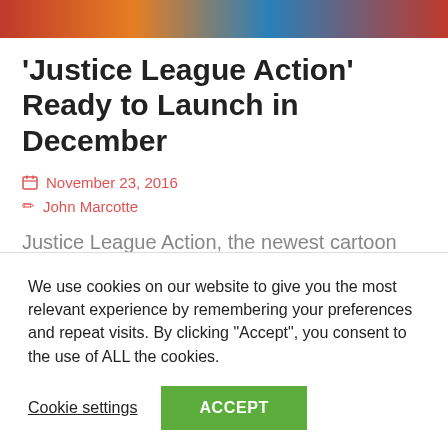[Figure (photo): Colorful image strip at the top of the page showing a Justice League-related illustration]
'Justice League Action' Ready to Launch in December
November 23, 2016
John Marcotte
Justice League Action, the newest cartoon iteration of the superhero team, is ready to take flight on Cartoon Network on Friday, December 16, 2016 at 6 pm ET/PT. The show
We use cookies on our website to give you the most relevant experience by remembering your preferences and repeat visits. By clicking “Accept”, you consent to the use of ALL the cookies.
Cookie settings
ACCEPT